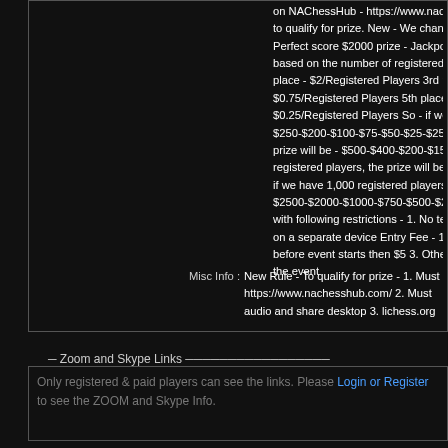on NAChessHub - https://www.nachess to qualify for prize. New - We change th Perfect score $2000 prize - Jackpot 2.0 based on the number of registered play place - $2/Registered Players 3rd place $0.75/Registered Players 5th place - $0 $0.25/Registered Players So - if we hav $250-$200-$100-$75-$50-$25-$25-$25 prize will be - $500-$400-$200-$150-$1 registered players, the prize will be - $75 if we have 1,000 registered players, the $2500-$2000-$1000-$750-$500-$250-$ with following restrictions - 1. No text c on a separate device Entry Fee - 1. Free before event starts then $5 3. Others - $ the event
Misc Info : New Rule - To qualify for prize - 1. Must https://www.nachesshub.com/ 2. Must audio and share desktop 3. lichess.org
Zoom and Skype Links
Only registered & paid players can see the links. Please Login or Register to see the ZOOM and Skype Info.